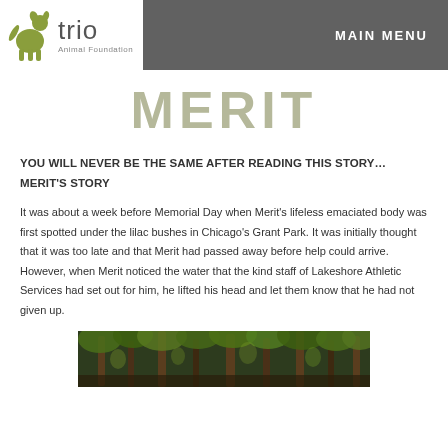Trio Animal Foundation | MAIN MENU
MERIT
YOU WILL NEVER BE THE SAME AFTER READING THIS STORY… MERIT'S STORY
It was about a week before Memorial Day when Merit's lifeless emaciated body was first spotted under the lilac bushes in Chicago's Grant Park. It was initially thought that it was too late and that Merit had passed away before help could arrive. However, when Merit noticed the water that the kind staff of Lakeshore Athletic Services had set out for him, he lifted his head and let them know that he had not given up.
[Figure (photo): Forest or park scene with trees and green foliage]